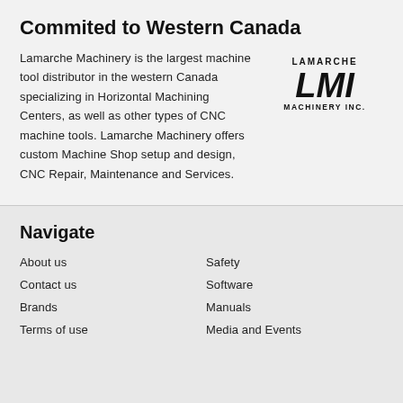Commited to Western Canada
Lamarche Machinery is the largest machine tool distributor in the western Canada specializing in Horizontal Machining Centers, as well as other types of CNC machine tools. Lamarche Machinery offers custom Machine Shop setup and design, CNC Repair, Maintenance and Services.
[Figure (logo): Lamarche LMI Machinery Inc. logo — bold italic LMI text with LAMARCHE above and MACHINERY INC. below]
Navigate
About us
Safety
Contact us
Software
Brands
Manuals
Terms of use
Media and Events